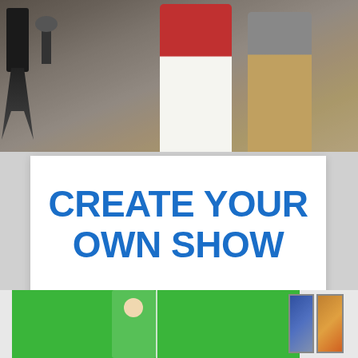[Figure (photo): Studio/film set photo showing people sitting with camera equipment, lighting rigs, and cables visible in a studio space]
CREATE YOUR OWN SHOW
We create, produce and distribute a show for you. You are the STAR! We will build a show (live or taped) that will position you as the expert in your field.
[Figure (photo): Photo showing a person in front of a green screen background with wall art visible on the right side]